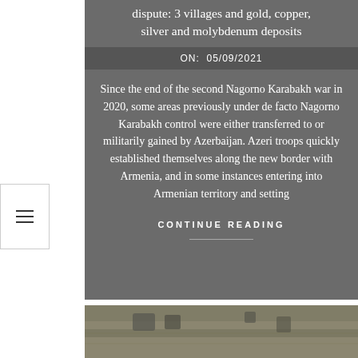dispute: 3 villages and gold, copper, silver and molybdenum deposits
ON:  05/09/2021
Since the end of the second Nagorno Karabakh war in 2020, some areas previously under de facto Nagorno Karabakh control were either transferred to or militarily gained by Azerbaijan. Azeri troops quickly established themselves along the new border with Armenia, and in some instances entering into Armenian territory and setting
CONTINUE READING
[Figure (photo): Aerial or ground-level photograph showing objects in dry grass/ground, partially visible at bottom of page]